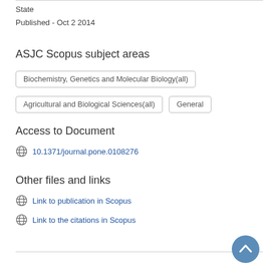State
Published - Oct 2 2014
ASJC Scopus subject areas
Biochemistry, Genetics and Molecular Biology(all)
Agricultural and Biological Sciences(all)
General
Access to Document
10.1371/journal.pone.0108276
Other files and links
Link to publication in Scopus
Link to the citations in Scopus